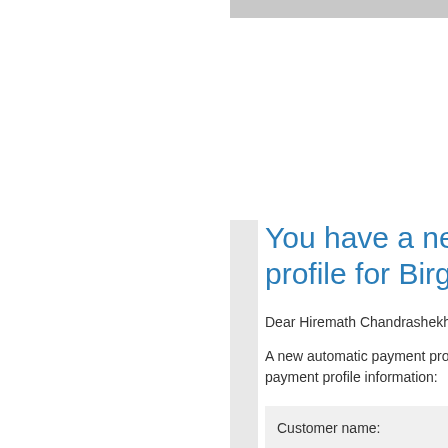[Figure (photo): Partial gray image bar at top of page]
You have a new automatic payment profile for Birg…
Dear Hiremath Chandrashekhar,
A new automatic payment profile… payment profile information:
| Customer name: |
| Customer email: |
| Automatic payment ID: |
| For: |
Automatic payment details